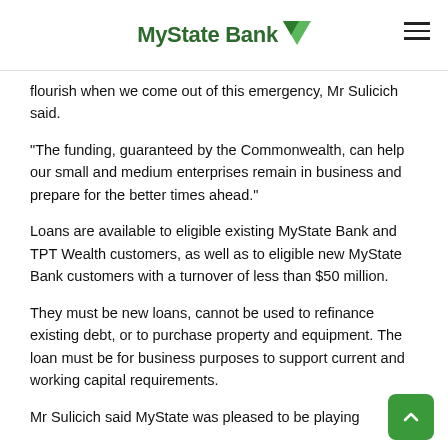MyState Bank
flourish when we come out of this emergency, Mr Sulicich said.
“The funding, guaranteed by the Commonwealth, can help our small and medium enterprises remain in business and prepare for the better times ahead.”
Loans are available to eligible existing MyState Bank and TPT Wealth customers, as well as to eligible new MyState Bank customers with a turnover of less than $50 million.
They must be new loans, cannot be used to refinance existing debt, or to purchase property and equipment. The loan must be for business purposes to support current and working capital requirements.
Mr Sulicich said MyState was pleased to be playing